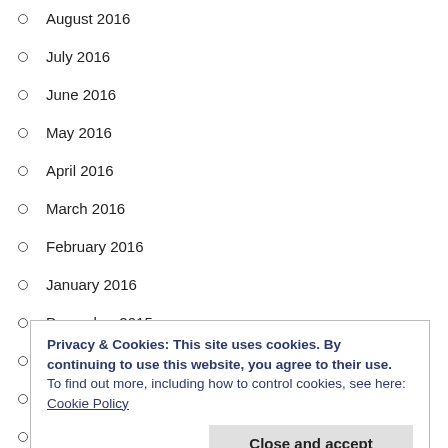August 2016
July 2016
June 2016
May 2016
April 2016
March 2016
February 2016
January 2016
December 2015
November 2015
October 2015
September 2015
Privacy & Cookies: This site uses cookies. By continuing to use this website, you agree to their use.
To find out more, including how to control cookies, see here: Cookie Policy
March 2015